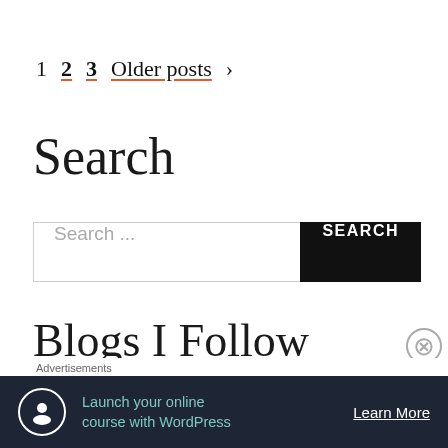1  2  3  Older posts >
Search
Search ...
Blogs I Follow
HumarE SapnE
Hiraeth
Advertisements
Launch your online course with WordPress   Learn More